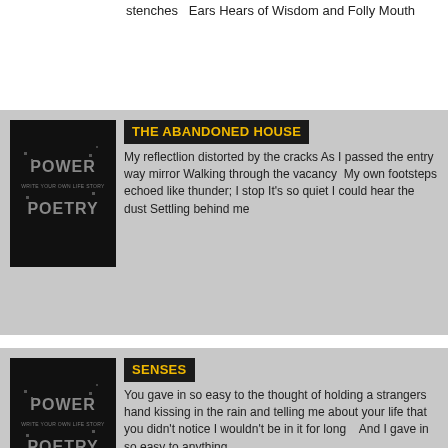stenches  Ears Hears of Wisdom and Folly Mouth
[Figure (logo): Power Poetry logo — black background with stylized text POWER and POETRY in gray pixel font, subtitle WRITE YOUR OWN LIFE STORY]
THE ABANDONED HOUSE
My reflectlion distorted by the cracks As I passed the entry way mirror Walking through the vacancy  My own footsteps echoed like thunder; I stop It's so quiet I could hear the dust Settling behind me
[Figure (logo): Power Poetry logo — black background with stylized text POWER and POETRY in gray pixel font, subtitle WRITE YOUR OWN LIFE STORY]
SENSES
You gave in so easy to the thought of holding a strangers hand kissing in the rain and telling me about your life that you didn't notice I wouldn't be in it for long   And I gave in so easy to anything